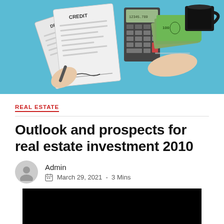[Figure (illustration): Hero illustration showing financial documents labeled CREDIT and DEBIT, a calculator, a hand signing a document, a hand holding money/bills, and a coffee cup, on a light blue background.]
REAL ESTATE
Outlook and prospects for real estate investment 2010
Admin
March 29, 2021  -  3 Mins
[Figure (photo): Black rectangle image placeholder below the article metadata.]